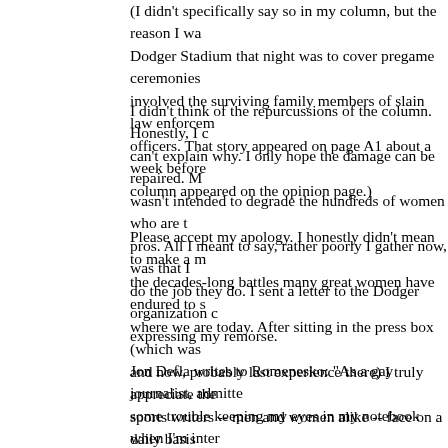(I didn't specifically say so in my column, but the reason I was at Dodger Stadium that night was to cover pregame ceremonies that involved the surviving family members of slain law enforcement officers. That story appeared on page A1 about a week before my column appeared on the opinion page.)
I didn't think of the repurcussions of the column. Honestly, I can't explain why. I only hope the damage can be repaired. My column wasn't intended to degrade the hundreds of women who are true pros. All I meant to say, rather poorly I gather now, was that I couldn't do the job they do. I sent a letter to the Dodger organization expressing my remorse.
Please accept my apology. I honestly didn't mean to make a mockery of the decades-long battles many great women have endured to get us to where we are today. After sitting in the press box (which was my first and now, probably last experience there) I truly appreciate the challenge sports writers -- men and women alike -- face on a daily basis. I couldn't do it.
Jon Defla writes to Romenesko: "As a gay journalist, admittedly having some trouble keeping my eyes in my notebook when I'm interviewing athletes in their jocks and small white towels. I've never put in print how so-and-so looks soaking wet out of the shower, but belie